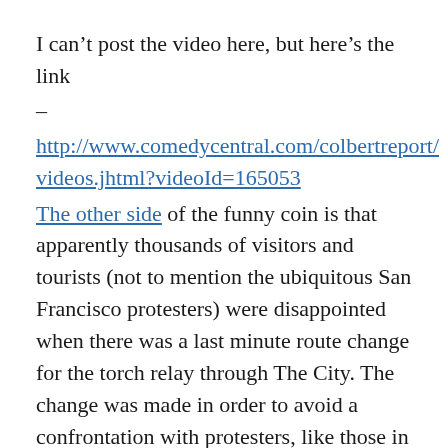I can't post the video here, but here's the link –
http://www.comedycentral.com/colbertreport/videos.jhtml?videoId=165053
The other side of the funny coin is that apparently thousands of visitors and tourists (not to mention the ubiquitous San Francisco protesters) were disappointed when there was a last minute route change for the torch relay through The City. The change was made in order to avoid a confrontation with protesters, like those in London and Paris. I personally had no desire to see the torch, so I don't care either way. I also don't have a very high regard for the way the Chinese government has dealt with Tibet. However, it is just the Olympics. We'll…